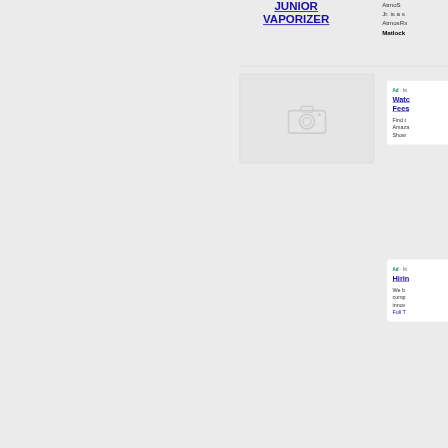JUNIOR VAPORIZER
AtmoS... Jr. is a s... AtmosRx... Matlock
[Figure (photo): Product image placeholder with camera icon, light gray background]
Ad · ht... Watch Fees... Find ... Amazo... Show...
Ad · ht... Hirin... We b... comp... innov... Full T...